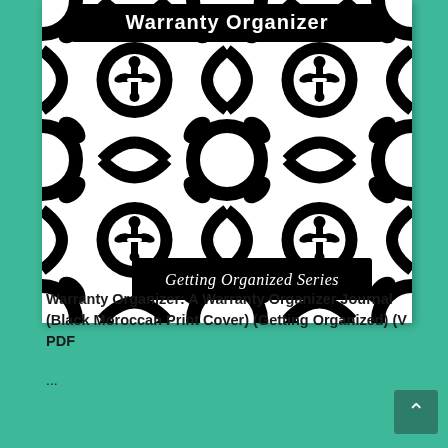[Figure (illustration): Book cover of 'Warranty Organizer' featuring a black and white Moroccan damask pattern. Two rectangular black banner labels overlay the pattern: one at the top reading 'Warranty Organizer' in white text, and one at the bottom reading 'Getting Organized Series' in white script text.]
Warranty Organizer: A Warranty Organizer Journal (Black Moroccan Print Cover) (Getting Organized) (V PDF
...